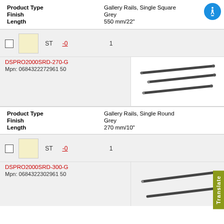| Product Type | Gallery Rails, Single Square |
| Finish | Grey |
| Length | 550 mm/22" |
ST  -0  1
DSPRO2000SRD-270-G
Mpn: 0684322272961 50
[Figure (photo): Two grey metal gallery rail bars shown at a diagonal angle]
| Product Type | Gallery Rails, Single Round |
| Finish | Grey |
| Length | 270 mm/10" |
ST  -0  1
DSPRO2000SRD-300-G
Mpn: 0684322302961 50
[Figure (photo): Grey metal gallery rail bar shown at a diagonal angle (partial view)]